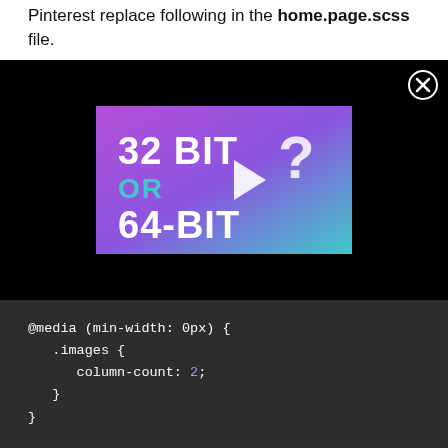Pinterest replace following in the home.page.scss file.
[Figure (screenshot): Video thumbnail showing '32 BIT OR 64-BIT ?' text on a purple/teal gradient background with a play button, embedded in a black video player with an X close button]
@media (min-width: 0px) {
   .images {
      column-count: 2;
   }
}

@media (min-width: 420px) {
   .images {
      column-count: 3;